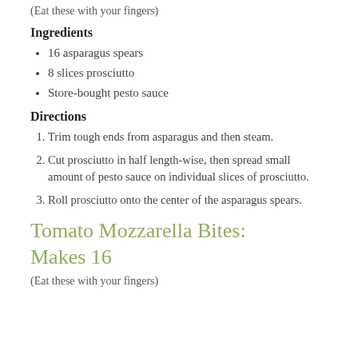(Eat these with your fingers)
Ingredients
16 asparagus spears
8 slices prosciutto
Store-bought pesto sauce
Directions
Trim tough ends from asparagus and then steam.
Cut prosciutto in half length-wise, then spread small amount of pesto sauce on individual slices of prosciutto.
Roll prosciutto onto the center of the asparagus spears.
Tomato Mozzarella Bites: Makes 16
(Eat these with your fingers)